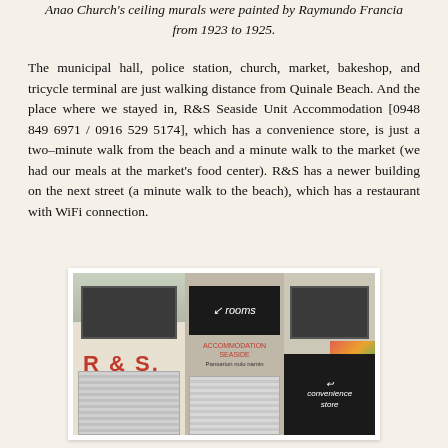Anao Church's ceiling murals were painted by Raymundo Francia from 1923 to 1925.
The municipal hall, police station, church, market, bakeshop, and tricycle terminal are just walking distance from Quinale Beach. And the place where we stayed in, R&S Seaside Unit Accommodation [0948 849 6971 / 0916 529 5174], which has a convenience store, is just a two–minute walk from the beach and a minute walk to the market (we had our meals at the market's food center). R&S has a newer building on the next street (a minute walk to the beach), which has a restaurant with WiFi connection.
[Figure (photo): Exterior photo of R&S Seaside Unit Accommodation building showing two-storey commercial building with R&S signage, rooms sign, convenience store, and colorful banners.]